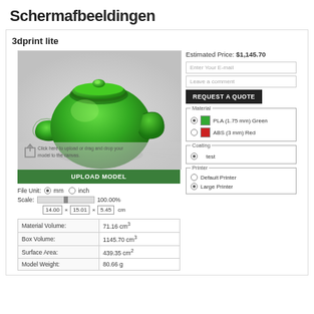Schermafbeeldingen
3dprint lite
[Figure (screenshot): 3D model viewer showing a green teapot/cauldron shaped object with upload interface and 'UPLOAD MODEL' button below]
File Unit: mm inch
Scale: 100.00%
14.00 × 15.01 × 5.45 cm
|  |  |
| --- | --- |
| Material Volume: | 71.16 cm3 |
| Box Volume: | 1145.70 cm3 |
| Surface Area: | 439.35 cm2 |
| Model Weight: | 80.66 g |
Estimated Price: $1,145.70
Enter Your E-mail
Leave a comment
REQUEST A QUOTE
Material
PLA (1.75 mm) Green
ABS (3 mm) Red
Coating
test
Printer
Default Printer
Large Printer